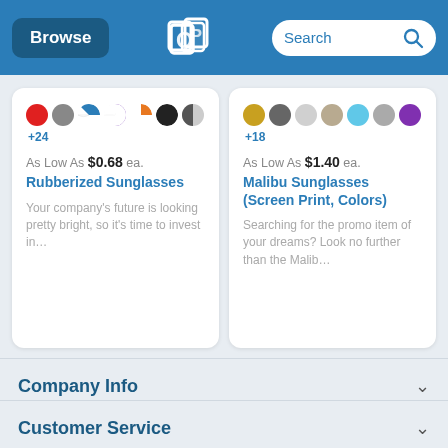Browse | [QLP Logo] | Search
[Figure (screenshot): Product card: Rubberized Sunglasses, As Low As $0.68 ea., color swatches +24]
[Figure (screenshot): Product card: Malibu Sunglasses (Screen Print, Colors), As Low As $1.40 ea., color swatches +18]
Company Info
Customer Service